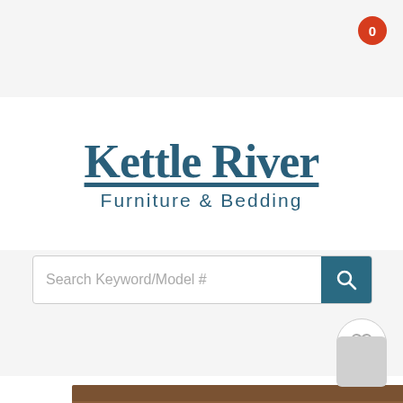[Figure (logo): Shopping cart icon with orange badge showing 0]
Kettle River Furniture & Bedding
[Figure (other): Search bar with placeholder text 'Search Keyword/Model #' and teal search button]
[Figure (other): Wishlist heart icon button]
[Figure (photo): Wooden bed headboard with blue and white patterned bedding and pillows]